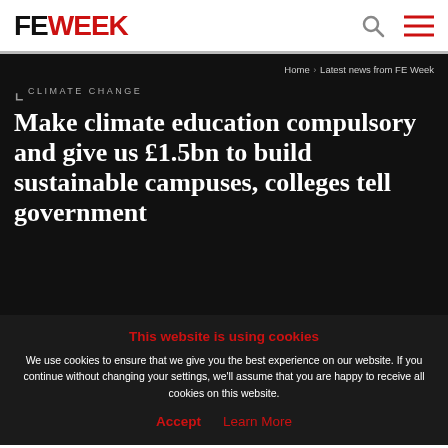FE WEEK
Home › Latest news from FE Week
Climate Change
Make climate education compulsory and give us £1.5bn to build sustainable campuses, colleges tell government
This website is using cookies
We use cookies to ensure that we give you the best experience on our website. If you continue without changing your settings, we'll assume that you are happy to receive all cookies on this website.
Accept  Learn More